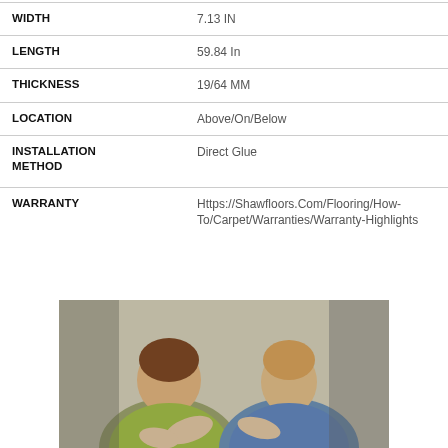| Property | Value |
| --- | --- |
| WIDTH | 7.13 IN |
| LENGTH | 59.84 In |
| THICKNESS | 19/64 MM |
| LOCATION | Above/On/Below |
| INSTALLATION METHOD | Direct Glue |
| WARRANTY | Https://Shawfloors.Com/Flooring/How-To/Carpet/Warranties/Warranty-Highlights |
[Figure (photo): Two people sitting together, one in a yellow-green shirt and one in a blue shirt, appearing to be in conversation or looking at something together.]